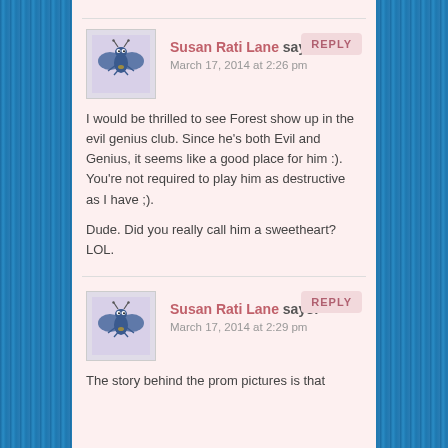Susan Rati Lane says: March 17, 2014 at 2:26 pm — I would be thrilled to see Forest show up in the evil genius club. Since he's both Evil and Genius, it seems like a good place for him :). You're not required to play him as destructive as I have ;). Dude. Did you really call him a sweetheart? LOL.
Susan Rati Lane says: March 17, 2014 at 2:29 pm — The story behind the prom pictures is that